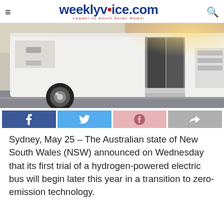weeklyvoice.com – Leader In South Asian News!
[Figure (photo): A white bus with open door parked next to red flowering hedges on a road, shown in motion/side angle.]
Sydney, May 25 – The Australian state of New South Wales (NSW) announced on Wednesday that its first trial of a hydrogen-powered electric bus will begin later this year in a transition to zero-emission technology.